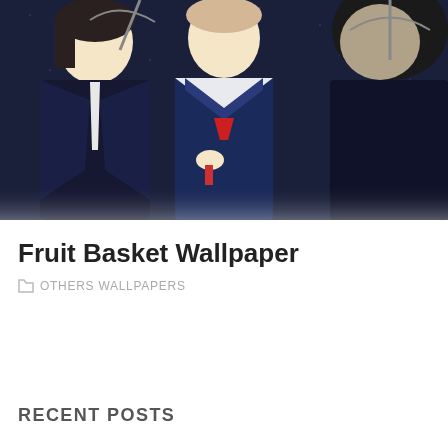[Figure (illustration): Anime illustration showing three characters in dark formal uniforms with ties, standing together. Background is dark blue with stars or rain. Center character appears to be wearing a sailor-style school uniform.]
Fruit Basket Wallpaper
OTHERS WALLPAPERS
RECENT POSTS